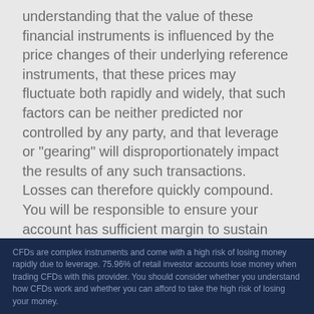understanding that the value of these financial instruments is influenced by the price changes of their underlying reference instruments, that these prices may fluctuate both rapidly and widely, that such factors can be neither predicted nor controlled by any party, and that leverage or "gearing" will disproportionately impact the results of any such transactions. Losses can therefore quickly compound. You will be responsible to ensure your account has sufficient margin to sustain your trading activity. If you are classified by us as a Retail Client, you will henceforth be subject to an ESMA-mandated close out rule on loss making positions when your minimum required margin level decreases to 50%. As a Retail Client you will however be protected by Tier1FX from
CFDs are complex instruments and come with a high risk of losing money rapidly due to leverage. 75.96% of retail investor accounts lose money when trading CFDs with this provider. You should consider whether you understand how CFDs work and whether you can afford to take the high risk of losing your money.